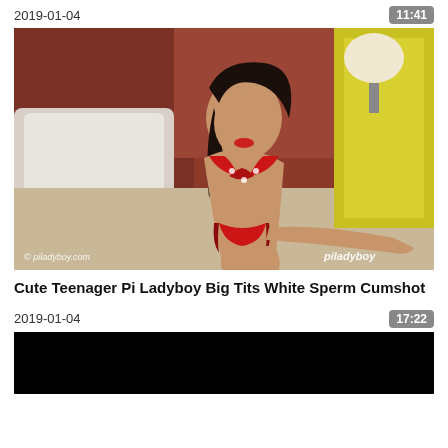2019-01-04
11:41
[Figure (photo): A person posing on a bed wearing a red and black decorated bikini. Room background with white pillows, a lamp, and yellow wall. Watermarks: '© piladyboy.com' bottom left, 'piladyboy' bottom right.]
Cute Teenager Pi Ladyboy Big Tits White Sperm Cumshot
2019-01-04
17:22
[Figure (photo): Black thumbnail image placeholder.]